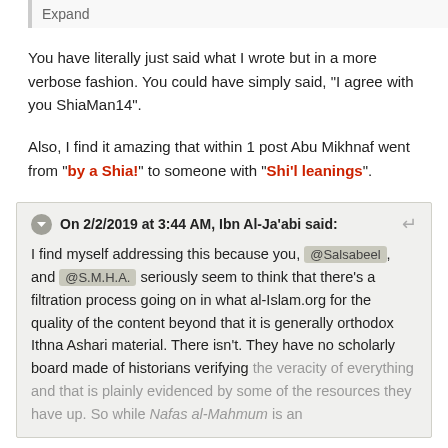Expand
You have literally just said what I wrote but in a more verbose fashion. You could have simply said, "I agree with you ShiaMan14".
Also, I find it amazing that within 1 post Abu Mikhnaf went from "by a Shia!" to someone with "Shi'l leanings".
On 2/2/2019 at 3:44 AM, Ibn Al-Ja'abi said: I find myself addressing this because you, @Salsabeel, and @S.M.H.A. seriously seem to think that there's a filtration process going on in what al-Islam.org for the quality of the content beyond that it is generally orthodox Ithna Ashari material. There isn't. They have no scholarly board made of historians verifying the veracity of everything and that is plainly evidenced by some of the resources they have up. So while Nafas al-Mahmum is an